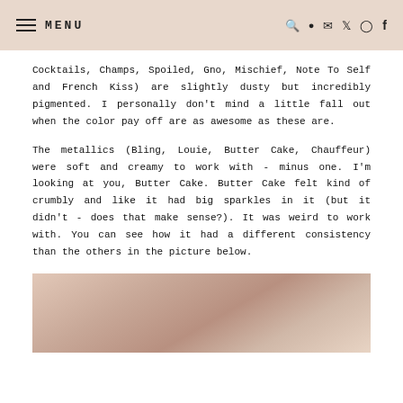MENU
Cocktails, Champs, Spoiled, Gno, Mischief, Note To Self and French Kiss) are slightly dusty but incredibly pigmented. I personally don't mind a little fall out when the color pay off are as awesome as these are.
The metallics (Bling, Louie, Butter Cake, Chauffeur) were soft and creamy to work with - minus one. I'm looking at you, Butter Cake. Butter Cake felt kind of crumbly and like it had big sparkles in it (but it didn't - does that make sense?). It was weird to work with. You can see how it had a different consistency than the others in the picture below.
[Figure (photo): Close-up photo of a person's face showing skin and hair, partially visible at the bottom of the page]